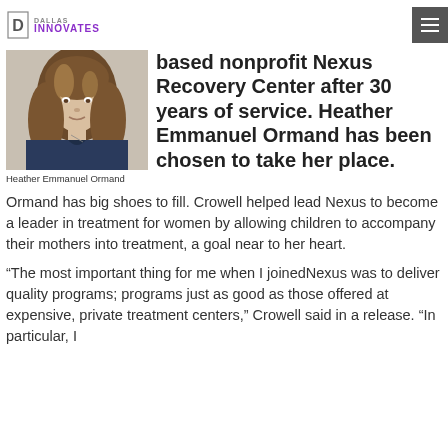DALLAS INNOVATES
[Figure (photo): Portrait photo of Heather Emmanuel Ormand, a woman with long brown wavy hair wearing a dark blue top]
Heather Emmanuel Ormand
based nonprofit Nexus Recovery Center after 30 years of service. Heather Emmanuel Ormand has been chosen to take her place.
Ormand has big shoes to fill. Crowell helped lead Nexus to become a leader in treatment for women by allowing children to accompany their mothers into treatment, a goal near to her heart.
“The most important thing for me when I joinedNexus was to deliver quality programs; programs just as good as those offered at expensive, private treatment centers,” Crowell said in a release. “In particular, I